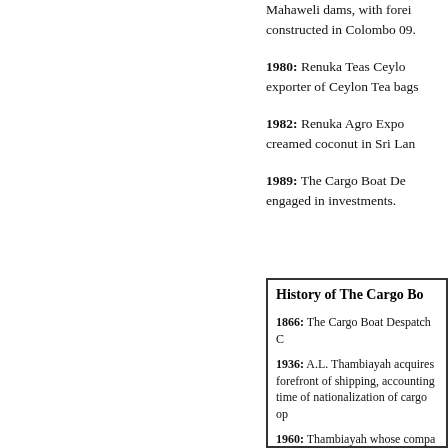Mahaweli dams, with foreign aid constructed in Colombo 09.
1980: Renuka Teas Ceylon — exporter of Ceylon Tea bags
1982: Renuka Agro Expo — creamed coconut in Sri Lanka
1989: The Cargo Boat Des — engaged in investments.
History of The Cargo Bo
1866: The Cargo Boat Despatch C
1936: A.L. Thambiayah acquires — forefront of shipping, accounting — time of nationalization of cargo op
1960: Thambiayah whose compa — Ceylon, is appointed chairman a — Gardiner, with whom he founded